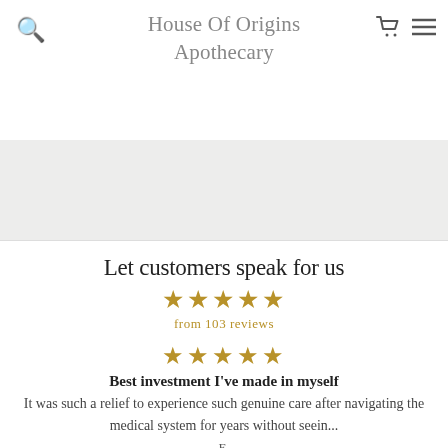House Of Origins Apothecary
[Figure (screenshot): Gray banner/hero image area below navigation header]
Let customers speak for us
★★★★★ from 103 reviews
★★★★★
Best investment I've made in myself
It was such a relief to experience such genuine care after navigating the medical system for years without seein...
E.
08/18/2022